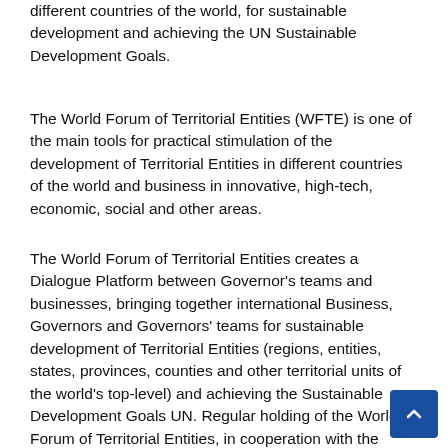different countries of the world, for sustainable development and achieving the UN Sustainable Development Goals.
The World Forum of Territorial Entities (WFTE) is one of the main tools for practical stimulation of the development of Territorial Entities in different countries of the world and business in innovative, high-tech, economic, social and other areas.
The World Forum of Territorial Entities creates a Dialogue Platform between Governor's teams and businesses, bringing together international Business, Governors and Governors' teams for sustainable development of Territorial Entities (regions, entities, states, provinces, counties and other territorial units of the world's top-level) and achieving the Sustainable Development Goals UN. Regular holding of the World Forum of Territorial Entities, in cooperation with the United Nations, will provide an opportunity to demonstrate new global innovation, investment, industrial, technological and other achievements and opportunities, as well as the best